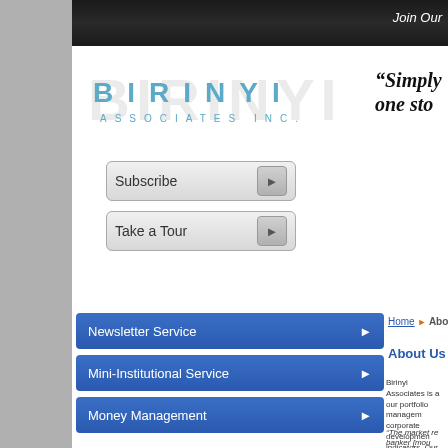Join Our
[Figure (logo): Birinyi Associates Inc. logo with stylized lettering]
“Simply one sto
Subscribe
Take a Tour
Newsletter Service
Mini-Institutional Service
Money Management
Home ► About Us
About Us
Birinyi Associates is a our portfolio managem corporate developmen indicators. Our approa of investors. Much of o follow the ideology of C
“The market re banker [mou